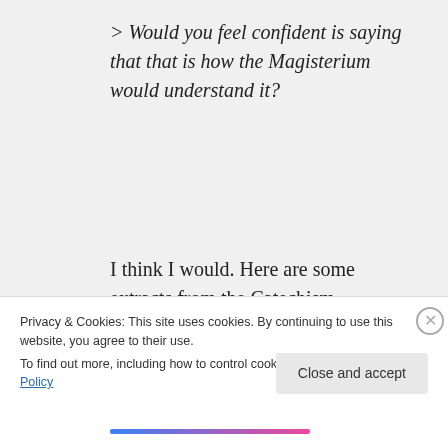> Would you feel confident is saying that that is how the Magisterium would understand it?
I think I would. Here are some extracts from the Catechism, paragraphs 955-962, which speak about the communion of the Saints by emphasizing the fact that
Privacy & Cookies: This site uses cookies. By continuing to use this website, you agree to their use.
To find out more, including how to control cookies, see here: Cookie Policy
Close and accept